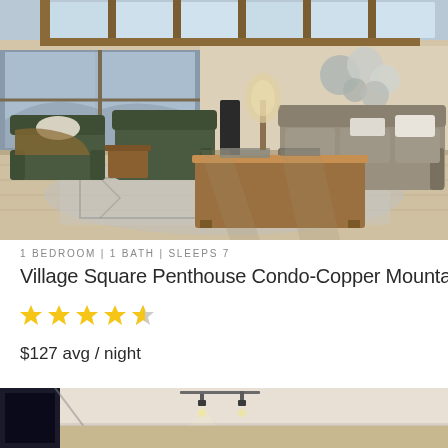[Figure (photo): Interior photo of a penthouse condo living room with green leather chairs, a wooden coffee table, skylights, large windows with mountain views, and decorative wall art]
1 BEDROOM | 1 BATH | SLEEPS 7
Village Square Penthouse Condo-Copper Mountain, CO
[Figure (infographic): Star rating showing approximately 4.5 out of 5 stars in gold]
$127 avg / night
[Figure (photo): Partial interior photo showing ceiling with track lighting and a mounted TV or screen]